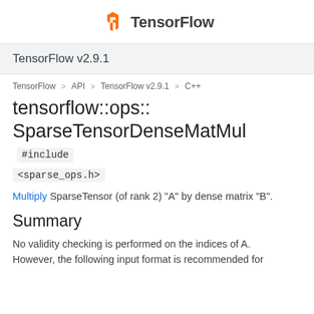TensorFlow
TensorFlow v2.9.1
TensorFlow > API > TensorFlow v2.9.1 > C++
tensorflow::ops::SparseTensorDenseMatMul #include <sparse_ops.h>
Multiply SparseTensor (of rank 2) "A" by dense matrix "B".
Summary
No validity checking is performed on the indices of A. However, the following input format is recommended for